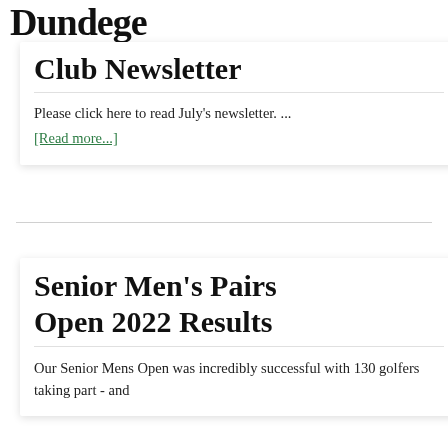Dundee
Club Newsletter
Please click here to read July's newsletter. ...
[Read more...]
Senior Men's Pairs Open 2022 Results
Our Senior Mens Open was incredibly successful with 130 golfers taking part - and